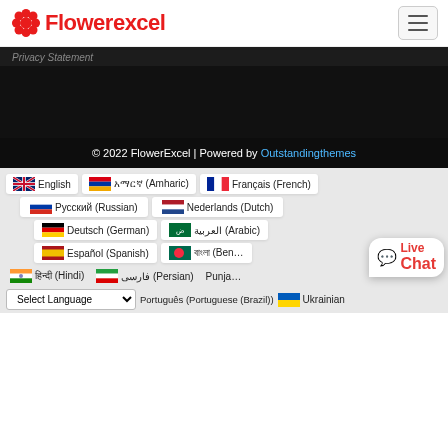Flowerexcel
Privacy Statement
© 2022 FlowerExcel | Powered by Outstandingthemes
English
አማርኛ (Amharic)
Français (French)
Русский (Russian)
Nederlands (Dutch)
Deutsch (German)
العربية (Arabic)
Español (Spanish)
বাংলা (Bengali)
हिन्दी (Hindi)
فارسی (Persian)
Punjabi
Português (Portuguese (Brazil))
Ukrainian
Select Language